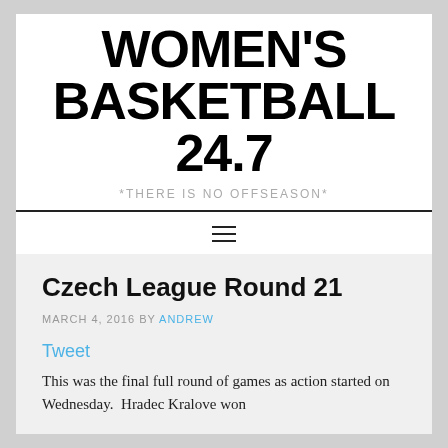WOMEN'S BASKETBALL 24.7
*THERE IS NO OFFSEASON*
Czech League Round 21
MARCH 4, 2016 BY ANDREW
Tweet
This was the final full round of games as action started on Wednesday.  Hradec Kralove won